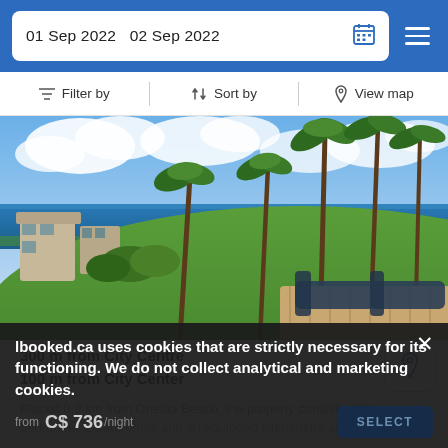01 Sep 2022  02 Sep 2022
Filter by  |  Sort by  |  View map
[Figure (photo): Tropical beach resort property with palm trees, green lawn, ocean view, and lounge chairs on a wooden deck under blue sky with clouds.]
300 m from City Centre
100 m from City Center
Placed 0.9 km from Oneloa Beach, the property consists of 2 bedrooms, 2 bathrooms and an equipped kitchenette area
lbooked.ca uses cookies that are strictly necessary for its functioning. We do not collect analytical and marketing cookies.
C$ 736/night  SELECT